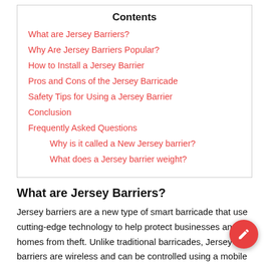Contents
What are Jersey Barriers?
Why Are Jersey Barriers Popular?
How to Install a Jersey Barrier
Pros and Cons of the Jersey Barricade
Safety Tips for Using a Jersey Barrier
Conclusion
Frequently Asked Questions
Why is it called a New Jersey barrier?
What does a Jersey barrier weight?
What are Jersey Barriers?
Jersey barriers are a new type of smart barricade that use cutting-edge technology to help protect businesses and homes from theft. Unlike traditional barricades, Jersey barriers are wireless and can be controlled using a mobile